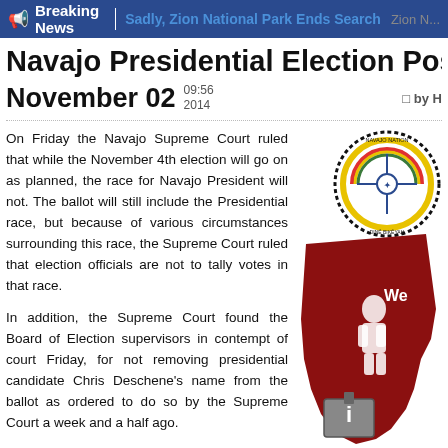Breaking News | Sadly, Zion National Park Ends Search | Zion...
Navajo Presidential Election Postpo...
November 02  09:56  2014   by H...
On Friday the Navajo Supreme Court ruled that while the November 4th election will go on as planned, the race for Navajo President will not. The ballot will still include the Presidential race, but because of various circumstances surrounding this race, the Supreme Court ruled that election officials are not to tally votes in that race.
In addition, the Supreme Court found the Board of Election supervisors in contempt of court Friday, for not removing presidential candidate Chris Deschene's name from the ballot as ordered to do so by the Supreme Court a week and a half ago.
The court ordered, further, that the members of the Elections Board are now disqualified as such, and cannot run again to seek their positions for five years. Quoted in The Arizona Republic, elections board member Loann Fulton said she'd do it all again.
[Figure (illustration): Navajo Nation seal (circular emblem with eagle and symbols)]
[Figure (map): Red silhouette map of the Navajo Nation region with text 'We' visible and a ballot box graphic at bottom]